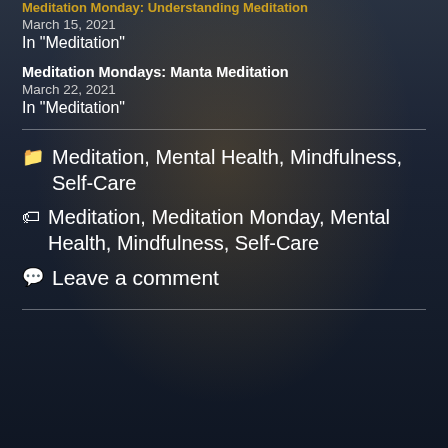Meditation Monday: Understanding Meditation
March 15, 2021
In "Meditation"
Meditation Mondays: Manta Meditation
March 22, 2021
In "Meditation"
Meditation, Mental Health, Mindfulness, Self-Care
Meditation, Meditation Monday, Mental Health, Mindfulness, Self-Care
Leave a comment